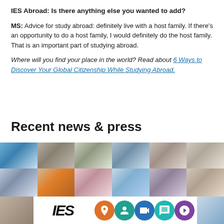IES Abroad: Is there anything else you wanted to add?
MS: Advice for study abroad: definitely live with a host family. If there's an opportunity to do a host family, I would definitely do the host family. That is an important part of studying abroad.
Where will you find your place in the world? Read about 6 Ways to Discover Your Global Citizenship While Studying Abroad.
Recent news & press
[Figure (photo): A collage grid of student portrait photos showing diverse study abroad students, and a bottom strip with the IES logo and colorful circular social media/topic icons.]